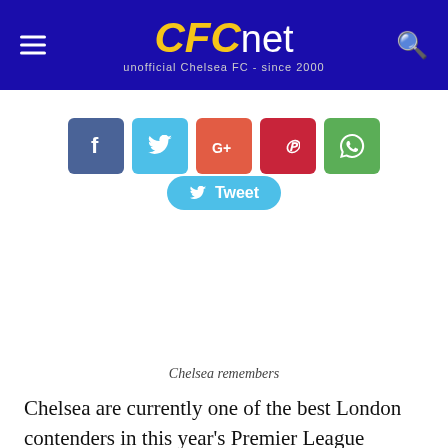CFCnet — unofficial Chelsea FC - since 2000
[Figure (infographic): Social sharing buttons: Facebook (blue), Twitter (light blue), Google+ (red-orange), Pinterest (dark red), WhatsApp (green)]
[Figure (infographic): Tweet button with Twitter bird icon]
Chelsea remembers
Chelsea are currently one of the best London contenders in this year's Premier League season. With a rich history in West London, during the last decade, we have quickly become one of the best teams in the league. Since 2003, we have racked up an